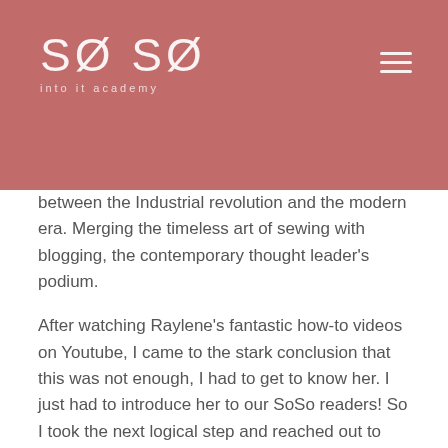SØ SØ into it academy
between the Industrial revolution and the modern era. Merging the timeless art of sewing with blogging, the contemporary thought leader's podium.
After watching Raylene's fantastic how-to videos on Youtube, I came to the stark conclusion that this was not enough, I had to get to know her. I just had to introduce her to our SoSo readers! So I took the next logical step and reached out to her. From her very first response (which included a sewing pun), her energetic personality and passion shone through and that was it, fate collided!